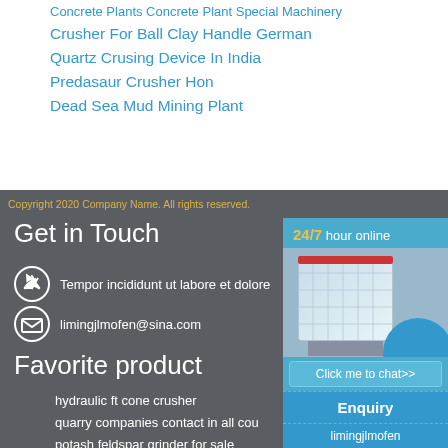Concrete Plants Concrete Plant Special Machinery
Crusher For Ball Clay Handle German
Quartz Crusing Device In India
Predasaur Crusher Hon
Dead Sea Mud Mining Plant
Copyright 2020 Company Name. All rights reserved.
Get in Touch
Tempor incididunt ut labore et dolore
limingjlmofen@sina.com
Favorite product
hydraulic ft cone crusher
quarry companies contact in all cou
potash feldspar grinder for sale
is there a grinder for bentonite
silica crushing machinery
[Figure (infographic): 24/7 hour online widget with crusher machine image, 'Click me to chat>>' button, Enquiry section, and limingjlmofen username]